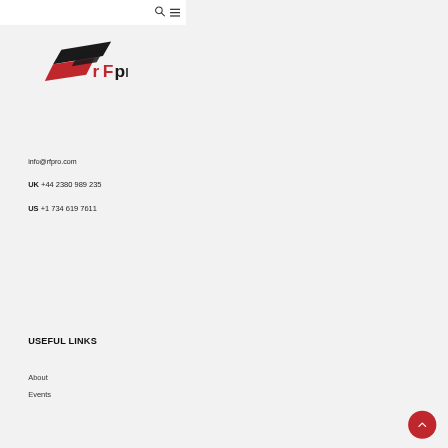[Figure (logo): rFpro logo with stylized red and black swoosh/arrow shapes and the text rFpro where rF is in red and pro is in black]
info@rfpro.com
UK +44 2380 989 235
US +1 734 619 7611
USEFUL LINKS
About
Events